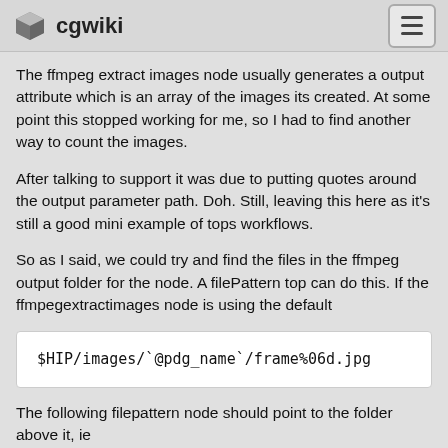cgwiki
The ffmpeg extract images node usually generates a output attribute which is an array of the images its created. At some point this stopped working for me, so I had to find another way to count the images.
After talking to support it was due to putting quotes around the output parameter path. Doh. Still, leaving this here as it's still a good mini example of tops workflows.
So as I said, we could try and find the files in the ffmpeg output folder for the node. A filePattern top can do this. If the ffmpegextractimages node is using the default
$HIP/images/`@pdg_name`/frame%06d.jpg
The following filepattern node should point to the folder above it, ie